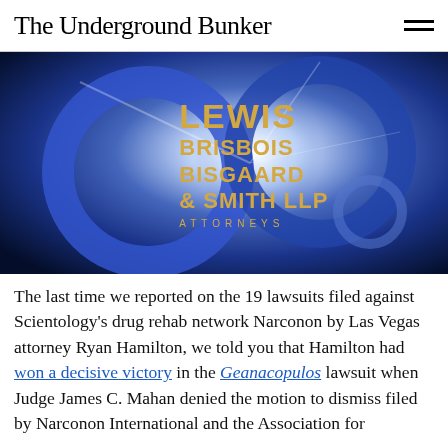The Underground Bunker
[Figure (logo): Lewis Brisbois Bisgaard & Smith LLP Attorneys law firm logo with golden text on a dark blue radial background with abstract 3D ribbon shapes]
The last time we reported on the 19 lawsuits filed against Scientology's drug rehab network Narconon by Las Vegas attorney Ryan Hamilton, we told you that Hamilton had won a decisive victory in the Geanacopulos lawsuit when Judge James C. Mahan denied the motion to dismiss filed by Narconon International and the Association for